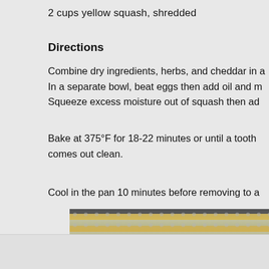2 cups yellow squash, shredded
Directions
Combine dry ingredients, herbs, and cheddar in a bowl. In a separate bowl, beat eggs then add oil and mix. Squeeze excess moisture out of squash then add to wet mixture.
Bake at 375°F for 18-22 minutes or until a toothpick comes out clean.
Cool in the pan 10 minutes before removing to a wire rack.
[Figure (photo): Close-up photo of yellow squash muffins or bread in a baking pan, showing golden-yellow baked texture with a spotted pattern.]
Advertisements